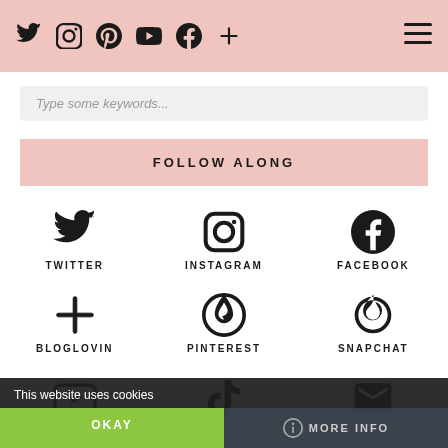Twitter, Instagram, Pinterest, YouTube, Facebook, Plus icons | Hamburger menu
Type some keywords...
FOLLOW ALONG
[Figure (infographic): 3x3 grid of social media icons: Twitter, Instagram, Facebook, Bloglovin, Pinterest, Snapchat, YouTube, TikTok, Email]
This website uses cookies
OKAY | MORE INFO